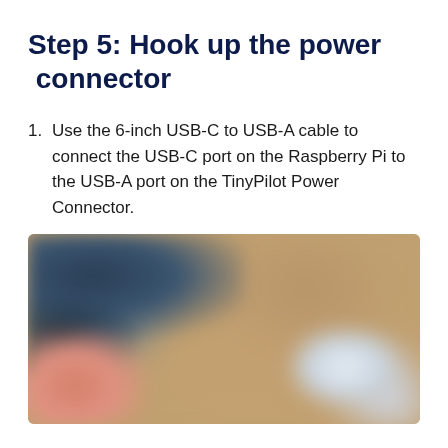Step 5: Hook up the power connector
Use the 6-inch USB-C to USB-A cable to connect the USB-C port on the Raspberry Pi to the USB-A port on the TinyPilot Power Connector.
[Figure (photo): A blurred photograph showing electronic hardware components including what appears to be a Raspberry Pi and connector, placed on a wooden surface. The image shows USB cables connected to the device.]